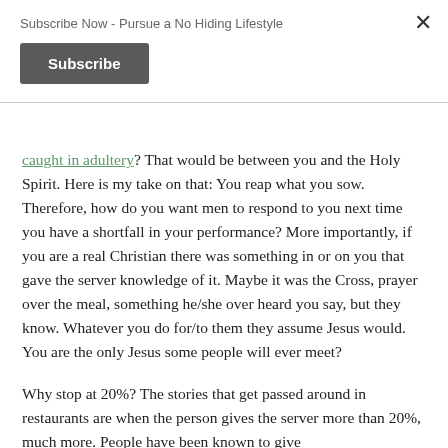Subscribe Now - Pursue a No Hiding Lifestyle
Subscribe
caught in adultery? That would be between you and the Holy Spirit. Here is my take on that: You reap what you sow. Therefore, how do you want men to respond to you next time you have a shortfall in your performance? More importantly, if you are a real Christian there was something in or on you that gave the server knowledge of it. Maybe it was the Cross, prayer over the meal, something he/she over heard you say, but they know. Whatever you do for/to them they assume Jesus would. You are the only Jesus some people will ever meet?
Why stop at 20%? The stories that get passed around in restaurants are when the person gives the server more than 20%, much more. People have been known to give